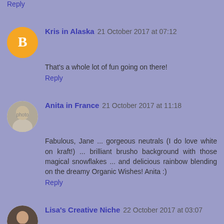Reply
Kris in Alaska  21 October 2017 at 07:12
That's a whole lot of fun going on there!
Reply
Anita in France  21 October 2017 at 11:18
Fabulous, Jane ... gorgeous neutrals (I do love white on kraft!) ... brilliant brusho background with those magical snowflakes ... and delicious rainbow blending on the dreamy Organic Wishes! Anita :)
Reply
Lisa's Creative Niche  22 October 2017 at 03:07
Loving the Kraft and black together!
Reply